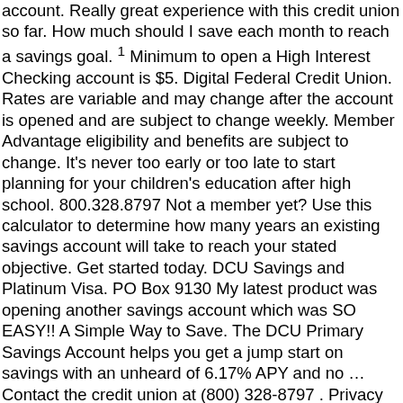account. Really great experience with this credit union so far. How much should I save each month to reach a savings goal. 1 Minimum to open a High Interest Checking account is $5. Digital Federal Credit Union. Rates are variable and may change after the account is opened and are subject to change weekly. Member Advantage eligibility and benefits are subject to change. It's never too early or too late to start planning for your children's education after high school. 800.328.8797 Not a member yet? Use this calculator to determine how many years an existing savings account will take to reach your stated objective. Get started today. DCU Savings and Platinum Visa. PO Box 9130 My latest product was opening another savings account which was SO EASY!! A Simple Way to Save. The DCU Primary Savings Account helps you get a jump start on savings with an unheard of 6.17% APY and no … Contact the credit union at (800) 328-8797 . Privacy and security policies of DCU will not apply once you leave our site. Rates are variable and may change after the account is opened and are subject to change weekly. 1APR= Annual Percentage Rate. Options to help you save faster and smarter. Please refer to DCU's...